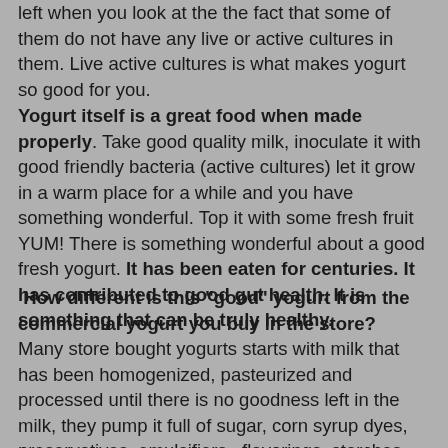left when you look at the the fact that some of them do not have any live or active cultures in them. Live active cultures is what makes yogurt so good for you.
Yogurt itself is a great food when made properly. Take good quality milk, inoculate it with good friendly bacteria (active cultures) let it grow in a warm place for a while and you have something wonderful. Top it with some fresh fruit YUM! There is something wonderful about a good fresh yogurt. It has been eaten for centuries. It has contributed to good gut health. It is something that can be truly healthy.
How different is this "good" yogurt from the commercial yogurt you buy in the store? Many store bought yogurts starts with milk that has been homogenized, pasteurized and processed until there is no goodness left in the milk, they pump it full of sugar, corn syrup dyes, preservatives, emulsifiers, flavorings, starches, and artificial sugars. They may, or may not put any live yogurt cultures in it.They may put a bit of real fruit in it, but mostly it is fruit flavorings and such. It is a far different food with a far different effect on the body than a good live culture yogurt. This is not to